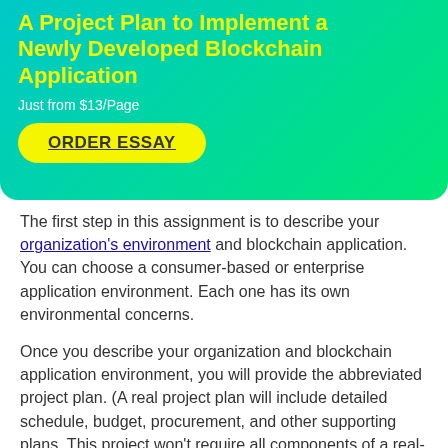A Project Plan to Implement a Newly Developed Blockchain Application
Just from $13/Page
ORDER ESSAY
The first step in this assignment is to describe your organization's environment and blockchain application. You can choose a consumer-based or enterprise application environment. Each one has its own environmental concerns.
Once you describe your organization and blockchain application environment, you will provide the abbreviated project plan. (A real project plan will include detailed schedule, budget, procurement, and other supporting plans. This project won't require all components of a real-life project plan.)  You abbreviated project plan (with organizational and blockchain environment introduction) must be no less than 1500 words. Your paper must be in